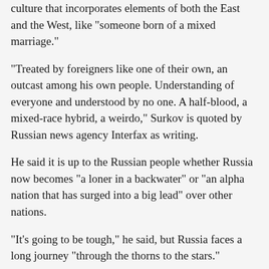culture that incorporates elements of both the East and the West, like "someone born of a mixed marriage."
"Treated by foreigners like one of their own, an outcast among his own people. Understanding of everyone and understood by no one. A half-blood, a mixed-race hybrid, a weirdo," Surkov is quoted by Russian news agency Interfax as writing.
He said it is up to the Russian people whether Russia now becomes "a loner in a backwater" or "an alpha nation that has surged into a big lead" over other nations.
"It's going to be tough," he said, but Russia faces a long journey "through the thorns to the stars."